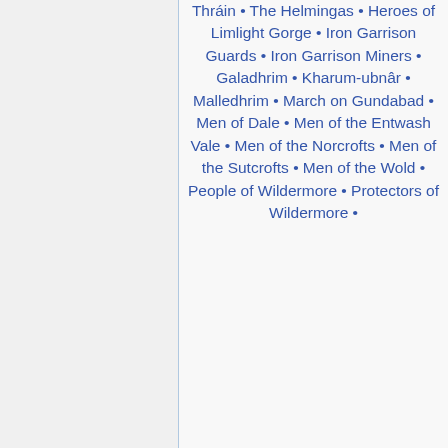Thráin • The Helmingas • Heroes of Limlight Gorge • Iron Garrison Guards • Iron Garrison Miners • Galadhrim • Kharum-ubnâr • Malledhrim • March on Gundabad • Men of Dale • Men of the Entwash Vale • Men of the Norcrofts • Men of the Sutcrofts • Men of the Wold • People of Wildermore • Protectors of Wildermore •